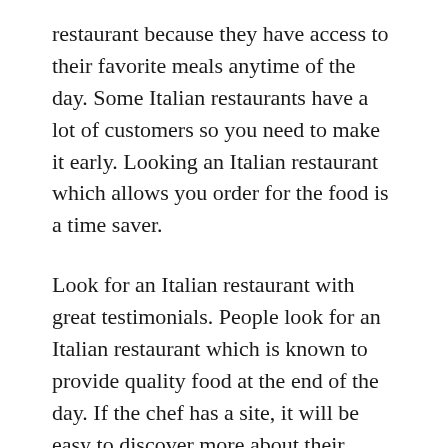restaurant because they have access to their favorite meals anytime of the day. Some Italian restaurants have a lot of customers so you need to make it early. Looking an Italian restaurant which allows you order for the food is a time saver.
Look for an Italian restaurant with great testimonials. People look for an Italian restaurant which is known to provide quality food at the end of the day. If the chef has a site, it will be easy to discover more about their services and what they offer. People look for the right Italian restaurant through testimonials from other customers. The customers will leave honest remarks abut the food and customer service.
How you feel about the customer service and waiting time will determine if you will be going back. Finding a reliable Italian restaurant business